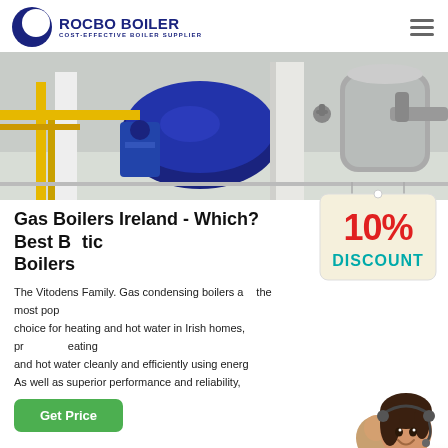[Figure (logo): Rocbo Boiler logo with blue crescent icon and text 'ROCBO BOILER - COST-EFFECTIVE BOILER SUPPLIER']
[Figure (photo): Industrial boiler room with large blue boiler machinery, yellow pipes, and white pillars]
Gas Boilers Ireland - Which? Best Bu...tic Boilers
The Vitodens Family. Gas condensing boilers are the most popular choice for heating and hot water in Irish homes, providing heating and hot water cleanly and efficiently using energy. As well as superior performance and reliability,
[Figure (infographic): 10% DISCOUNT badge - a hanging tag style badge showing '10%' in large red text and 'DISCOUNT' in teal/blue text]
[Figure (photo): Customer service agent - woman wearing headset smiling, with another agent behind her]
Get Price
7X24 Online